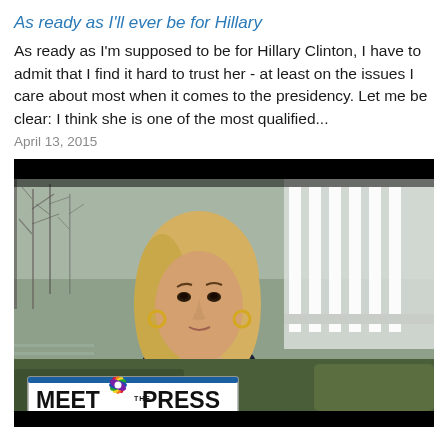As ready as I'll ever be for Hillary
As ready as I'm supposed to be for Hillary Clinton, I have to admit that I find it hard to trust her - at least on the issues I care about most when it comes to the presidency. Let me be clear: I think she is one of the most qualified...
April 13, 2015
[Figure (screenshot): A TV screenshot from NBC's Meet the Press showing a blonde woman being interviewed outdoors in front of a white building (the White House), with the 'Meet the Press' lower-third graphic visible at the bottom of the frame.]